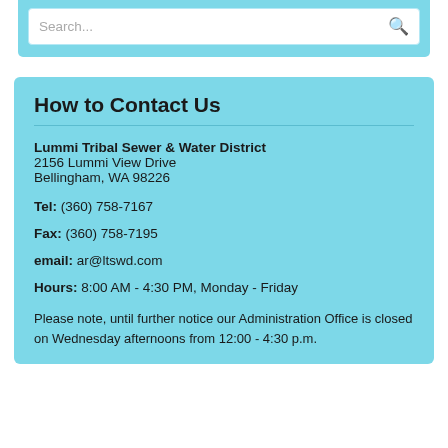[Figure (screenshot): Search bar with placeholder text 'Search...' and a magnifying glass icon on a light blue background]
How to Contact Us
Lummi Tribal Sewer & Water District
2156 Lummi View Drive
Bellingham, WA 98226
Tel: (360) 758-7167
Fax: (360) 758-7195
email: ar@ltswd.com
Hours: 8:00 AM - 4:30 PM, Monday - Friday
Please note, until further notice our Administration Office is closed on Wednesday afternoons from 12:00 - 4:30 p.m.